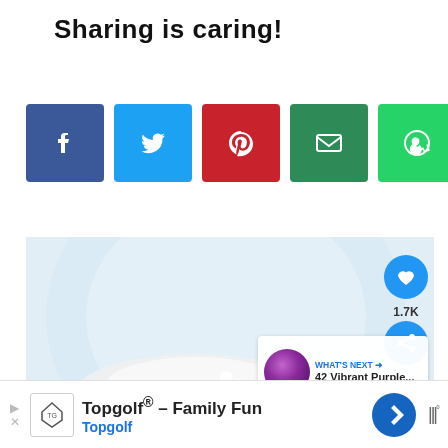Sharing is caring!
[Figure (infographic): Row of five social share buttons: Facebook (blue), Twitter (light blue), Pinterest (red), Email (dark green), WhatsApp (green)]
[Figure (photo): Food/floral image with a decorative plate, light blue background with circular plate shape. Overlaid heart/like button showing 1.7K count, share button, and a 'WHAT'S NEXT' panel showing '42 Vibrant Purple...']
[Figure (infographic): Advertisement bar: Topgolf® - Family Fun / Topgolf, with navigation arrow icon and logo]